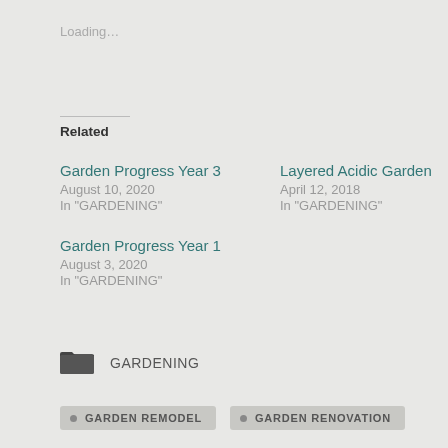Loading...
Related
Garden Progress Year 3
August 10, 2020
In "GARDENING"
Layered Acidic Garden
April 12, 2018
In "GARDENING"
Garden Progress Year 1
August 3, 2020
In "GARDENING"
GARDENING
GARDEN REMODEL
GARDEN RENOVATION